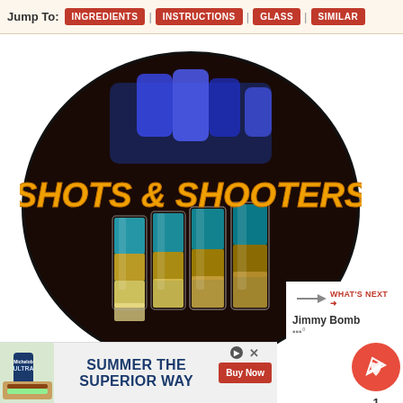Jump To: INGREDIENTS | INSTRUCTIONS | GLASS | SIMILAR
[Figure (photo): Oval-shaped image of layered shots and shooters in shot glasses with blue flames, overlaid with orange italic text 'SHOTS & SHOOTERS' on a black oval background]
[Figure (infographic): Floating sidebar with a red circular heart/save button showing count '1', and a share button below it]
[Figure (infographic): WHAT'S NEXT panel showing 'Jimmy Bomb' next recommendation with small thermometer icon]
[Figure (screenshot): Advertisement banner: Michelob ULTRA beer with burger, text 'SUMMER THE SUPERIOR WAY', Buy Now button]